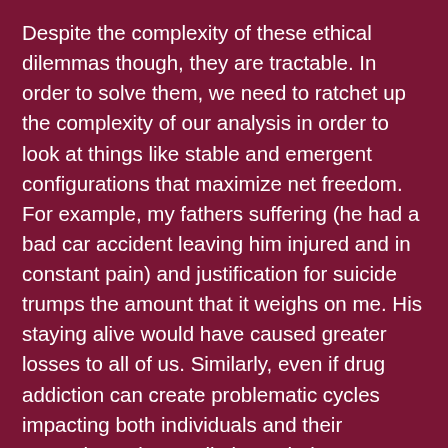Despite the complexity of these ethical dilemmas though, they are tractable. In order to solve them, we need to ratchet up the complexity of our analysis in order to look at things like stable and emergent configurations that maximize net freedom. For example, my fathers suffering (he had a bad car accident leaving him injured and in constant pain) and justification for suicide trumps the amount that it weighs on me. His staying alive would have caused greater losses to all of us. Similarly, even if drug addiction can create problematic cycles impacting both individuals and their networks, trying to eliminate their usage would create a net-loss in freedom that would quickly become authoritarian. This doesn't mean that the freedom of many can be justified by the suffering of one, just that maximizing freedom must take into account the [text continues below visible area]